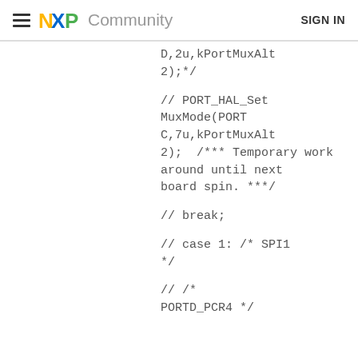NXP Community  SIGN IN
D,2u,kPortMuxAlt2);*/

// PORT_HAL_SetMuxMode(PORTC,7u,kPortMuxAlt2);  /*** Temporary work around until next board spin. ***/

// break;

// case 1: /* SPI1 */

// /* PORTD_PCR4 */